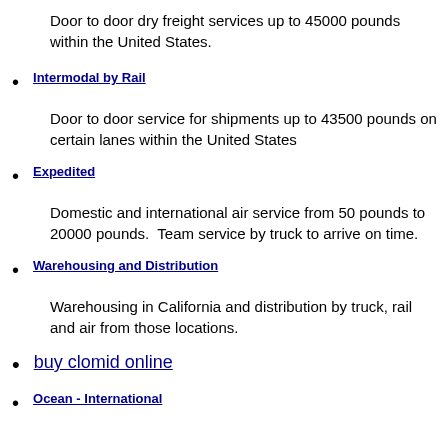Door to door dry freight services up to 45000 pounds within the United States.
Intermodal by Rail
Door to door service for shipments up to 43500 pounds on certain lanes within the United States
Expedited
Domestic and international air service from 50 pounds to 20000 pounds.  Team service by truck to arrive on time.
Warehousing and Distribution
Warehousing in California and distribution by truck, rail and air from those locations.
buy clomid online
Ocean - International